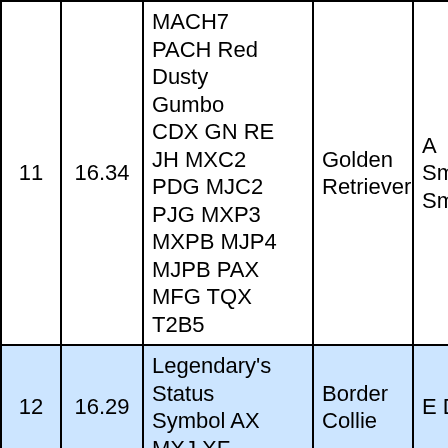| # | Score | Dog Name / Title | Breed | Owner |
| --- | --- | --- | --- | --- |
| 11 | 16.34 | MACH7 PACH Red Dusty Gumbo CDX GN RE JH MXC2 PDG MJC2 PJG MXP3 MXPB MJP4 MJPB PAX MFG TQX T2B5 | Golden Retriever | A Smelser/J Smelser |
| 12 | 16.29 | Legendary's Status Symbol AX MXJ XF | Border Collie | E Dott |